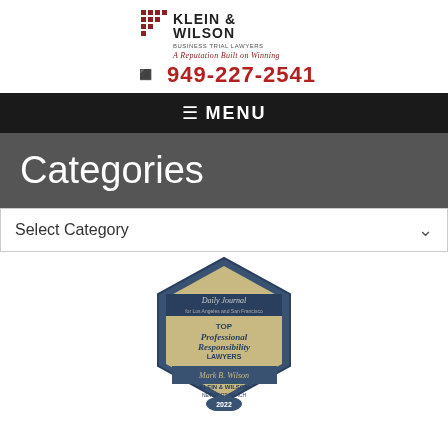Klein & Wilson — Business Trial Lawyers — A Reputation Built on Winning
949-227-2541
MENU
Categories
Select Category
[Figure (illustration): Daily Journal Top Professional Responsibility Lawyers badge for Mark B. Wilson, Klein & Wilson, Newport Beach, 2022]
[Figure (illustration): America's Top 100 badge 2022 with eagle emblem]